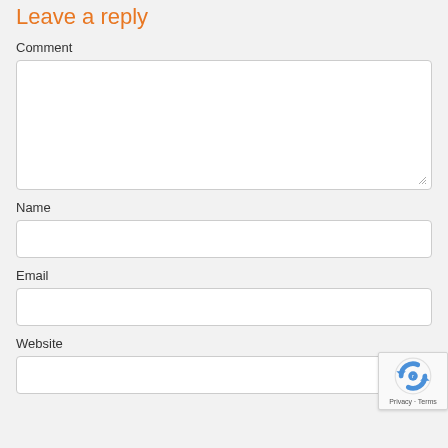Leave a reply
Comment
Name
Email
Website